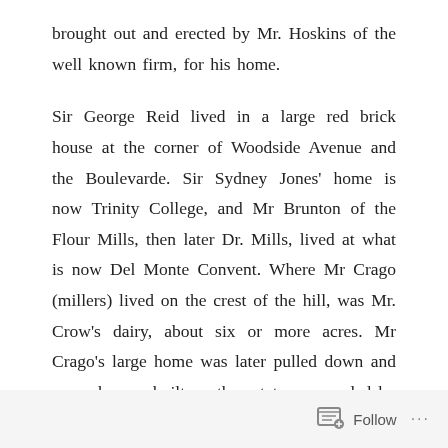brought out and erected by Mr. Hoskins of the well known firm, for his home.
Sir George Reid lived in a large red brick house at the corner of Woodside Avenue and the Boulevarde. Sir Sydney Jones' home is now Trinity College, and Mr Brunton of the Flour Mills, then later Dr. Mills, lived at what is now Del Monte Convent. Where Mr Crago (millers) lived on the crest of the hill, was Mr. Crow's dairy, about six or more acres. Mr Crago's large home was later pulled down and many houses built on the estate surrounded by Wonga Street, Willee Street, Henry Street and the Boulevarde.
Follow